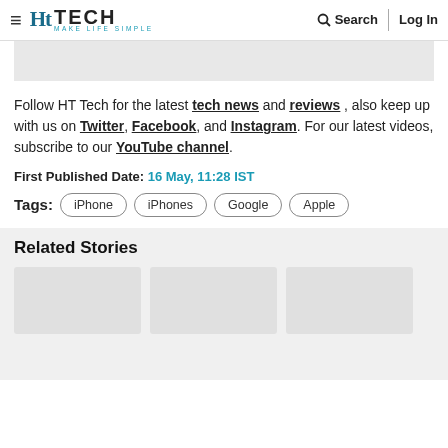HT TECH — MAKE LIFE SIMPLE | Search | Log In
Follow HT Tech for the latest tech news and reviews , also keep up with us on Twitter, Facebook, and Instagram. For our latest videos, subscribe to our YouTube channel.
First Published Date: 16 May, 11:28 IST
Tags: iPhone  iPhones  Google  Apple
Related Stories